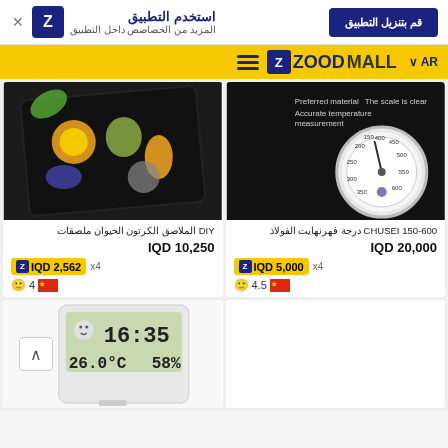[Figure (screenshot): ZoodMall e-commerce app banner with download button in Arabic and blue Z logo]
[Figure (screenshot): ZoodMall navigation bar with yellow background, hamburger menu, ZOODMALL logo, and AR language selector]
[Figure (photo): DIY animal stickers/patches product image showing colorful cartoon animals on dark background]
DIY الملاصق الكرتون الحيوان ملصقات
IQD 10,250
IQD 2,562 x4
4
[Figure (photo): CHUSEI 150-600 steel temperature gauge thermometer product image on black background]
CHUSEI 150-600 درجة فهرنهايت الفولاذ
IQD 20,000
IQD 5,000 x4
4.5
[Figure (photo): White digital clock/thermometer/hygrometer showing 16:35 time, 26.0°C temperature, 58% humidity]
[Figure (photo): Empty white product card placeholder]